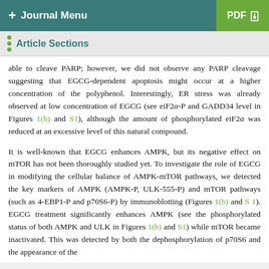+ Journal Menu   PDF ↓
Article Sections
able to cleave PARP; however, we did not observe any PARP cleavage suggesting that EGCG-dependent apoptosis might occur at a higher concentration of the polyphenol. Interestingly, ER stress was already observed at low concentration of EGCG (see eiF2α-P and GADD34 level in Figures 1(b) and S1), although the amount of phosphorylated eiF2α was reduced at an excessive level of this natural compound.
It is well-known that EGCG enhances AMPK, but its negative effect on mTOR has not been thoroughly studied yet. To investigate the role of EGCG in modifying the cellular balance of AMPK-mTOR pathways, we detected the key markers of AMPK (AMPK-P, ULK-555-P) and mTOR pathways (such as 4-EBP1-P and p70S6-P) by immunoblotting (Figures 1(b) and S1). EGCG treatment significantly enhances AMPK (see the phosphorylated status of both AMPK and ULK in Figures 1(b) and S1) while mTOR became inactivated. This was detected by both the dephosphorylation of p70S6 and the appearance of the